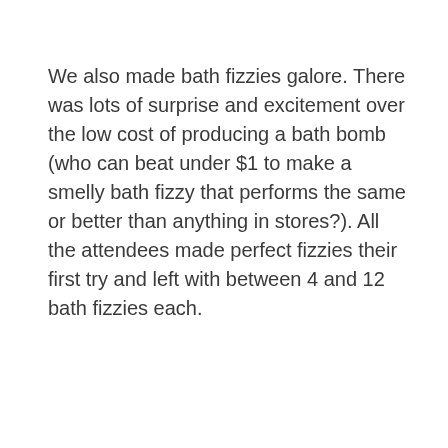We also made bath fizzies galore. There was lots of surprise and excitement over the low cost of producing a bath bomb (who can beat under $1 to make a smelly bath fizzy that performs the same or better than anything in stores?). All the attendees made perfect fizzies their first try and left with between 4 and 12 bath fizzies each.